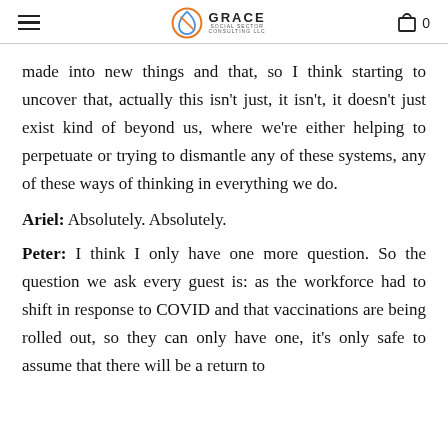GRACE Social Sector Consulting LLC — Menu | Cart 0
made into new things and that, so I think starting to uncover that, actually this isn't just, it isn't, it doesn't just exist kind of beyond us, where we're either helping to perpetuate or trying to dismantle any of these systems, any of these ways of thinking in everything we do.
Ariel: Absolutely. Absolutely.
Peter: I think I only have one more question. So the question we ask every guest is: as the workforce had to shift in response to COVID and that vaccinations are being rolled out, so they can only have one, it's only safe to assume that there will be a return to